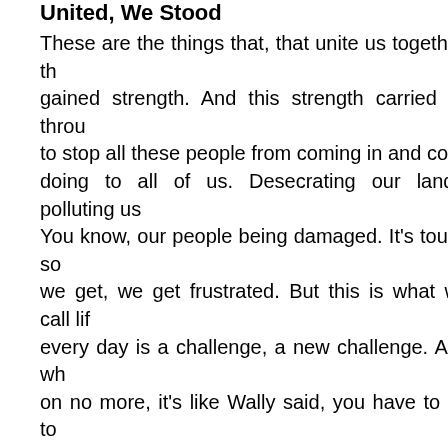United, We Stood
These are the things that, that unite us together, th... gained strength. And this strength carried us throu... to stop all these people from coming in and conti... doing to all of us. Desecrating our lands, polluting us... You know, our people being damaged. It's tough so... we get, we get frustrated. But this is what we call lif... every day is a challenge, a new challenge. And wh... on no more, it's like Wally said, you have to go to... have, have them help you. They will pick you up. They may not even know why... us, again, together. 'Cause no one person can do a... been a one-man army for five years. And we never g... hope. Think about these songs here, think about wh... they continue on and on. Because they have been with us from time immeme... and your tradition and your language and whatever... realize how important it is, and never let it die Understand this position. You don't have to have...